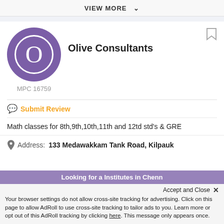VIEW MORE
[Figure (logo): Purple circle with white letter O — Olive Consultants logo]
Olive Consultants
MPC 16759
Submit Review
Math classes for 8th,9th,10th,11th and 12td std's & GRE
Address: 133 Medawakkam Tank Road, Kilpauk
Looking for a Institutes in Chenn
Accept and Close ✕
Your browser settings do not allow cross-site tracking for advertising. Click on this page to allow AdRoll to use cross-site tracking to tailor ads to you. Learn more or opt out of this AdRoll tracking by clicking here. This message only appears once.